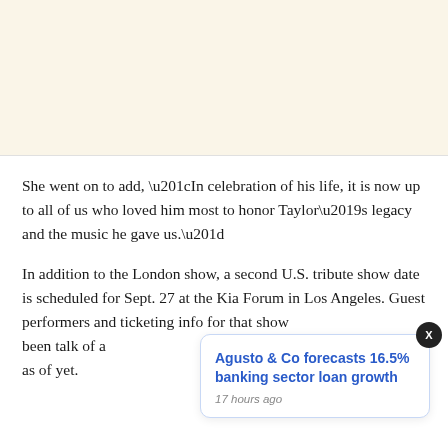She went on to add, “In celebration of his life, it is now up to all of us who loved him most to honor Taylor’s legacy and the music he gave us.”
In addition to the London show, a second U.S. tribute show date is scheduled for Sept. 27 at the Kia Forum in Los Angeles. Guest performers and ticketing info for that show been talk of a as of yet.
Agusto & Co forecasts 16.5% banking sector loan growth
17 hours ago